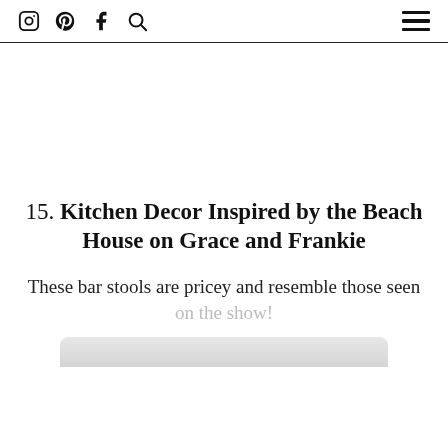Instagram Pinterest Facebook Search [hamburger menu]
[Figure (other): Large white/blank image area in the center of the page]
15. Kitchen Decor Inspired by the Beach House on Grace and Frankie
These bar stools are pricey and resemble those seen on the show!